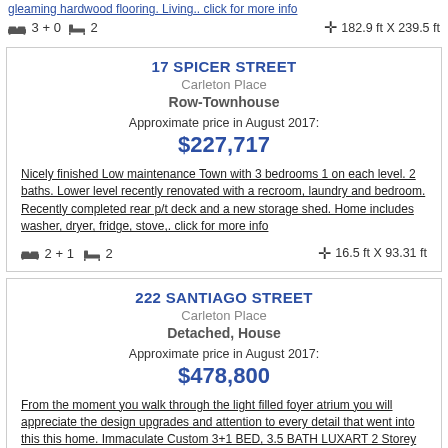gleaming hardwood flooring. Living... click for more info
🛏 3 + 0  🛁 2   ✛ 182.9 ft X 239.5 ft
17 SPICER STREET
Carleton Place
Row-Townhouse
Approximate price in August 2017:
$227,717
Nicely finished Low maintenance Town with 3 bedrooms 1 on each level. 2 baths. Lower level recently renovated with a recroom, laundry and bedroom. Recently completed rear p/t deck and a new storage shed. Home includes washer, dryer, fridge, stove,. click for more info
🛏 2 + 1  🛁 2   ✛ 16.5 ft X 93.31 ft
222 SANTIAGO STREET
Carleton Place
Detached, House
Approximate price in August 2017:
$478,800
From the moment you walk through the light filled foyer atrium you will appreciate the design upgrades and attention to every detail that went into this this home. Immaculate Custom 3+1 BED, 3.5 BATH LUXART 2 Storey Residence The Ashbee model (approx. 1823. click for more info